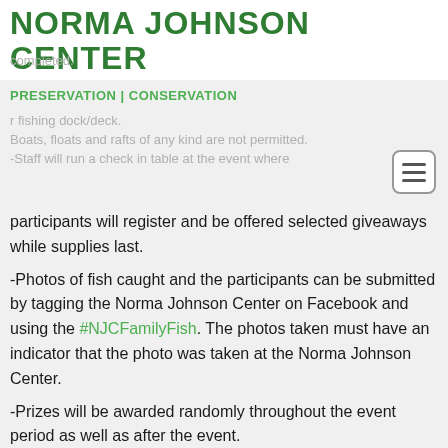NORMA JOHNSON CENTER
completed.
PRESERVATION | CONSERVATION
r fishing dock/deck. Boats, floats and rafts of any kind are not permitted. -Staff will run a check in table at the event where
participants will register and be offered selected giveaways while supplies last. -Photos of fish caught and the participants can be submitted by tagging the Norma Johnson Center on Facebook and using the #NJCFamilyFish. The photos taken must have an indicator that the photo was taken at the Norma Johnson Center. -Prizes will be awarded randomly throughout the event period as well as after the event. -Prizes will be divided into different categories at the staff's discretion.